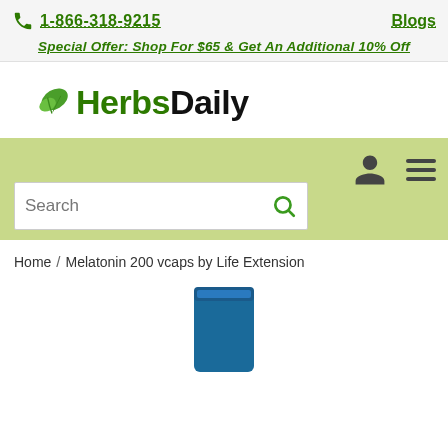1-866-318-9215  Blogs
Special Offer: Shop For $65 & Get An Additional 10% Off
[Figure (logo): HerbsDaily logo with green leaf icon and text 'HerbsDaily' where 'Herbs' is green and 'Daily' is black]
Search
Home / Melatonin 200 vcaps by Life Extension
[Figure (photo): Bottom portion of a blue supplement bottle partially visible at the bottom of the page]